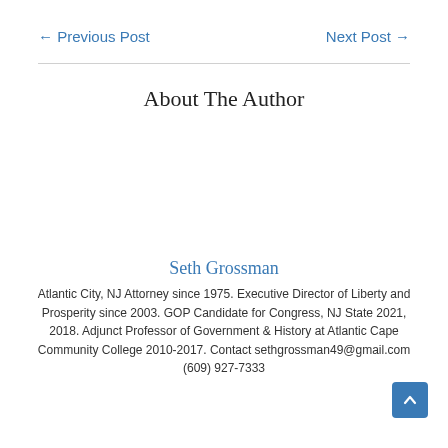← Previous Post    Next Post →
About The Author
Seth Grossman
Atlantic City, NJ Attorney since 1975. Executive Director of Liberty and Prosperity since 2003. GOP Candidate for Congress, NJ State 2021, 2018. Adjunct Professor of Government & History at Atlantic Cape Community College 2010-2017. Contact sethgrossman49@gmail.com (609) 927-7333